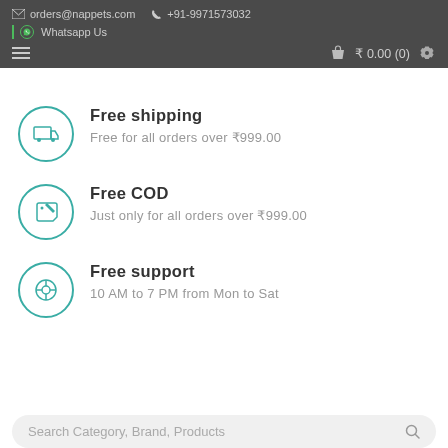orders@nappets.com  +91-9971573032  Whatsapp Us  ₹0.00 (0)
Free shipping
Free for all orders over ₹999.00
Free COD
Just only for all orders over ₹999.00
Free support
10 AM to 7 PM from Mon to Sat
Search Category, Brand, Products